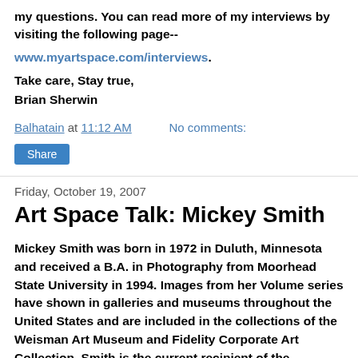my questions. You can read more of my interviews by visiting the following page--
www.myartspace.com/interviews.
Take care, Stay true,
Brian Sherwin
Balhatain at 11:12 AM    No comments:
Share
Friday, October 19, 2007
Art Space Talk: Mickey Smith
Mickey Smith was born in 1972 in Duluth, Minnesota and received a B.A. in Photography from Moorhead State University in 1994. Images from her Volume series have shown in galleries and museums throughout the United States and are included in the collections of the Weisman Art Museum and Fidelity Corporate Art Collection. Smith is the current recipient of the McKnight Artist Fellowship for Photography and a